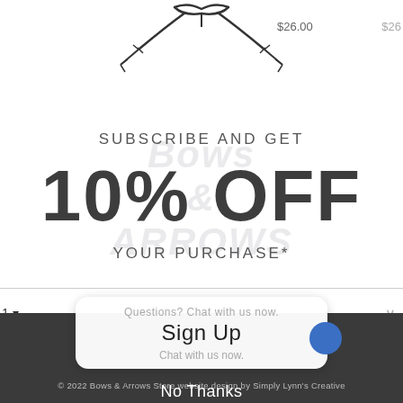[Figure (illustration): Decorative bow and arrows illustration at top center of page]
$26.00
SUBSCRIBE AND GET
10% OFF
YOUR PURCHASE*
HELPFUL LINKS
to receive recurring automated marketing text messages (e.g. cart reminders) at the phone provided. Consent is not a condition to purchase. Msg & data rates may apply. Msg frequency reply HELP for help and STOP to cancel. View our Terms of Service and Privacy Policy.
Sign Up
Questions? Chat with us now.
© 2022 Bows & Arrows Store website design by Simply Lynn's Creative
No Thanks